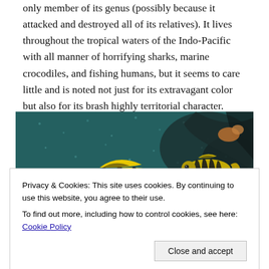only member of its genus (possibly because it attacked and destroyed all of its relatives). It lives throughout the tropical waters of the Indo-Pacific with all manner of horrifying sharks, marine crocodiles, and fishing humans, but it seems to care little and is noted not just for its extravagant color but also for its brash highly territorial character.
[Figure (photo): Underwater photograph of a brightly striped yellow and black tropical fish (appears to be an Oriental sweetlips or similar species) swimming near a rocky reef with teal/dark water background and coral visible.]
Privacy & Cookies: This site uses cookies. By continuing to use this website, you agree to their use.
To find out more, including how to control cookies, see here: Cookie Policy
[Figure (photo): Bottom portion of an underwater photograph showing coral reef.]